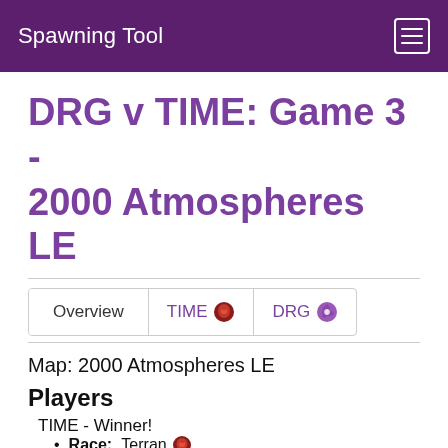Spawning Tool
DRG v TIME: Game 3 - 2000 Atmospheres LE
Overview   TIME   DRG
Map: 2000 Atmospheres LE
Players
TIME - Winner!
Race: Terran